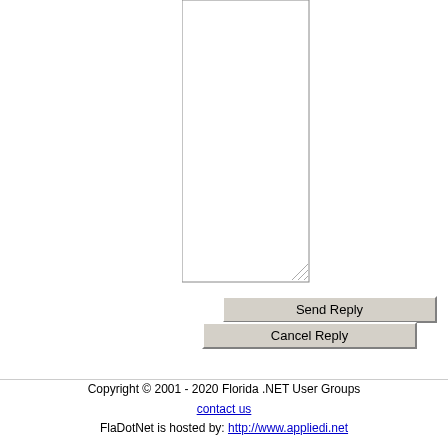[Figure (screenshot): A textarea input box (empty, white background with border and resize handle)]
Send Reply
Cancel Reply
Copyright © 2001 - 2020 Florida .NET User Groups
contact us
FlaDotNet is hosted by: http://www.appliedi.net